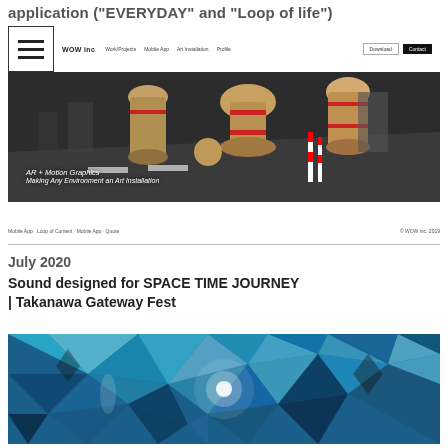application ("EVERYDAY" and "Loop of life")
[Figure (screenshot): Screenshot of a website (WOW or similar) showing a navigation bar with hamburger menu, logo, and nav links, with a main hero image featuring AR + Motion Graphics and text 'AR + Motion Graphics / Making Any Environment an Art Installation'. The hero shows abstract 3D objects floating over a street scene.]
Mobile App · Loop of Content · Mobile App · Quote                                                © WOW inc. 2019
July 2020
Sound designed for SPACE TIME JOURNEY | Takanawa Gateway Fest
[Figure (photo): Crystal/diamond geometric art installation with blue and teal faceted surfaces and bright light effects, likely from the SPACE TIME JOURNEY event at Takanawa Gateway Fest.]